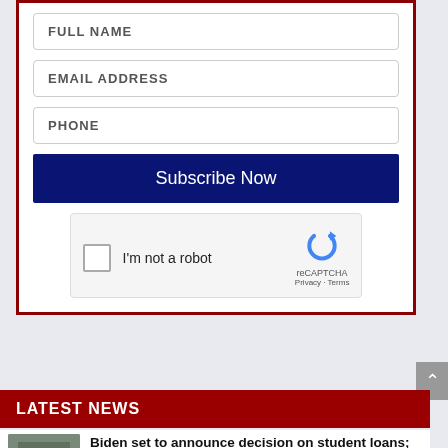FULL NAME
EMAIL ADDRESS
PHONE
Subscribe Now
[Figure (other): reCAPTCHA widget with checkbox labeled I'm not a robot, reCAPTCHA logo, Privacy and Terms links]
LATEST NEWS
Biden set to announce decision on student loans; potential results are troubling
Aug 24, 2022 | Commentary